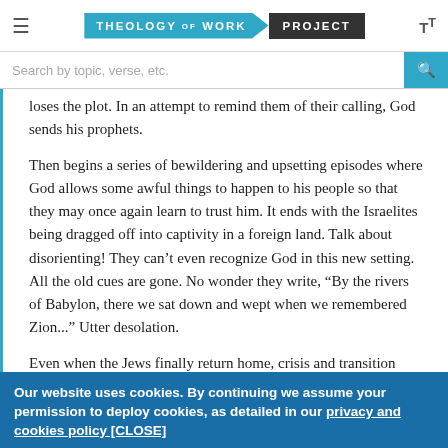Theology of Work Project
loses the plot. In an attempt to remind them of their calling, God sends his prophets.
Then begins a series of bewildering and upsetting episodes where God allows some awful things to happen to his people so that they may once again learn to trust him. It ends with the Israelites being dragged off into captivity in a foreign land. Talk about disorienting! They can't even recognize God in this new setting. All the old cues are gone. No wonder they write, “By the rivers of Babylon, there we sat down and wept when we remembered Zion...” Utter desolation.
Even when the Jews finally return home, crisis and transition continue. The rebuilding of the walls of Jerusalem and the re-establishment of Jewish life takes time and brings many challenges.
Our website uses cookies. By continuing we assume your permission to deploy cookies, as detailed in our privacy and cookies policy [CLOSE]